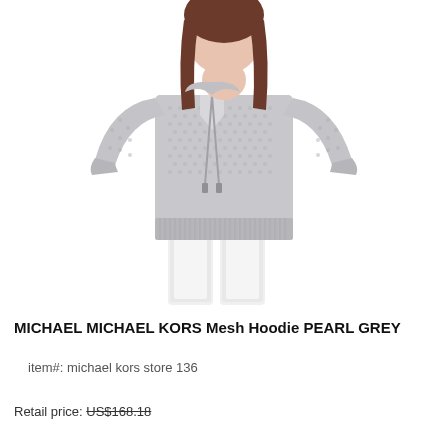[Figure (photo): Woman wearing a light pearl grey mesh knit hoodie sweater with V-neck and drawstring, paired with white pants. Shot on white background, upper body visible.]
MICHAEL MICHAEL KORS Mesh Hoodie PEARL GREY
item#: michael kors store 136
Retail price: US$168.18